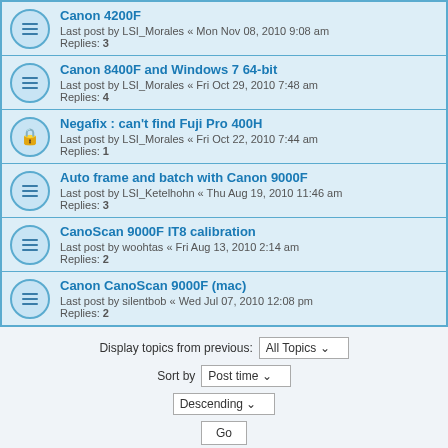Canon 4200F
Last post by LSI_Morales « Mon Nov 08, 2010 9:08 am
Replies: 3
Canon 8400F and Windows 7 64-bit
Last post by LSI_Morales « Fri Oct 29, 2010 7:48 am
Replies: 4
Negafix : can't find Fuji Pro 400H
Last post by LSI_Morales « Fri Oct 22, 2010 7:44 am
Replies: 1
Auto frame and batch with Canon 9000F
Last post by LSI_Ketelhohn « Thu Aug 19, 2010 11:46 am
Replies: 3
CanoScan 9000F IT8 calibration
Last post by woohtas « Fri Aug 13, 2010 2:14 am
Replies: 2
Canon CanoScan 9000F (mac)
Last post by silentbob « Wed Jul 07, 2010 12:08 pm
Replies: 2
Display topics from previous: All Topics ▾
Sort by Post time ▾
Descending ▾
Go
Locked 🔒
108 topics  1  2  3  ›